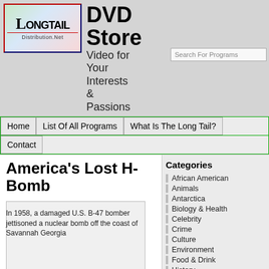[Figure (logo): Longtail Distribution.Net logo with colorful gradient background and L-shaped icon]
DVD Store
Video for Your Interests & Passions
Search For Programs
Home | List Of All Programs | What Is The Long Tail? | Contact
America's Lost H-Bomb
In 1958, a damaged U.S. B-47 bomber jettisoned a nuclear bomb off the coast of Savannah Georgia
Categories
African American
Animals
Antarctica
Biology & Health
Celebrity
Crime
Culture
Environment
Food & Drink
History
How To
Life Science